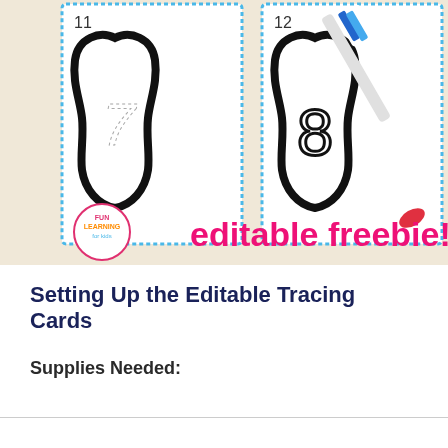[Figure (photo): Photo of two tooth-shaped tracing cards numbered 11 and 12, with dotted number tracing guides (7 and 8) inside each tooth outline. A blue and white toothbrush rests on top. A circular 'Fun Learning for Kids' logo is in the bottom-left, with bold pink text reading 'editable freebie!' beside it. Background is light tan/beige.]
Setting Up the Editable Tracing Cards
Supplies Needed: